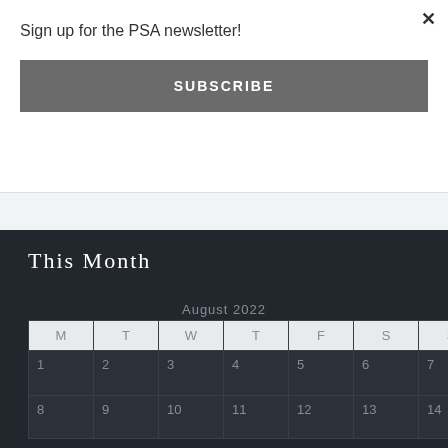Sign up for the PSA newsletter!
SUBSCRIBE
This Month
August 2022
| M | T | W | T | F | S | S |
| --- | --- | --- | --- | --- | --- | --- |
| 1 | 2 | 3 | 4 | 5 | 6 | 7 |
| 8 | 9 | 10 | 11 | 12 | 13 | 14 |